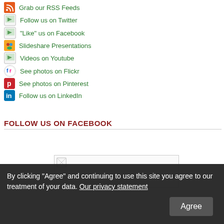Grab our RSS Feeds
Follow us on Twitter
"Like" us on Facebook
Slideshare Presentations
Videos on Youtube
See photos on Flickr
See photos on Pinterest
Follow us on LinkedIn
FOLLOW US ON FACEBOOK
[Figure (screenshot): Facebook widget placeholder with broken image icon]
By clicking “Agree” and continuing to use this site you agree to our treatment of your data. Our privacy statement
Agree